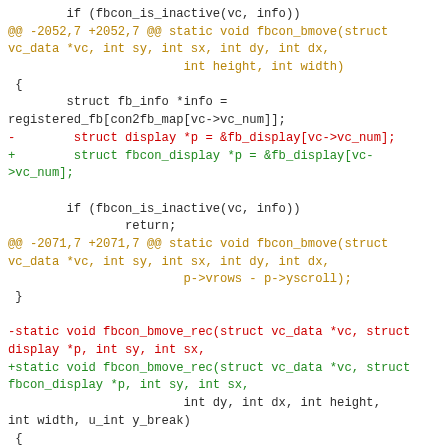Code diff showing changes to fbcon_bmove and fbcon_bmove_rec functions, replacing 'struct display' with 'struct fbcon_display'